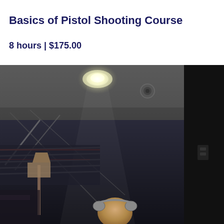Basics of Pistol Shooting Course
8 hours | $175.00
[Figure (photo): Indoor shooting range or firearms facility interior. View shows a dark ceiling with a recessed ceiling light illuminating the space. Various equipment and rods/supports are visible. A person wearing ear protection is visible at the bottom of the frame. A dark panel/wall is on the right side.]